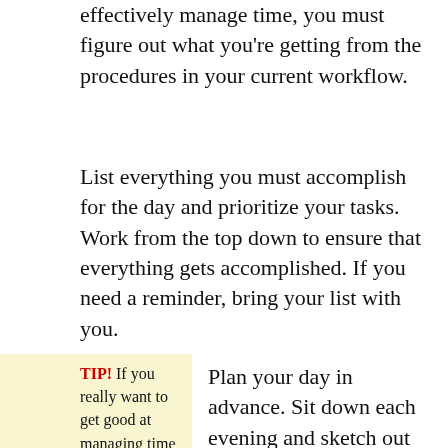effectively manage time, you must figure out what you're getting from the procedures in your current workflow.
List everything you must accomplish for the day and prioritize your tasks. Work from the top down to ensure that everything gets accomplished. If you need a reminder, bring your list with you.
TIP! If you really want to get good at managing time wisely, then you need to get good at determining how
Plan your day in advance. Sit down each evening and sketch out how you want your day to look. By doing this, you will feel more settled and prepared to face